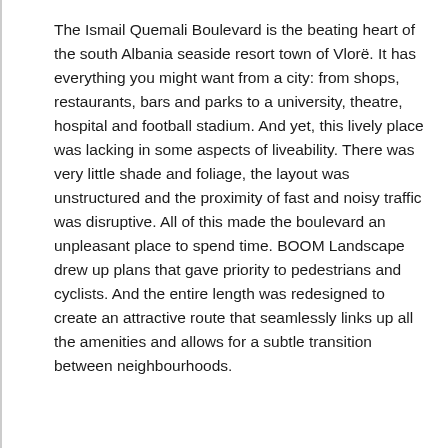The Ismail Quemali Boulevard is the beating heart of the south Albania seaside resort town of Vlorë. It has everything you might want from a city: from shops, restaurants, bars and parks to a university, theatre, hospital and football stadium. And yet, this lively place was lacking in some aspects of liveability. There was very little shade and foliage, the layout was unstructured and the proximity of fast and noisy traffic was disruptive. All of this made the boulevard an unpleasant place to spend time. BOOM Landscape drew up plans that gave priority to pedestrians and cyclists. And the entire length was redesigned to create an attractive route that seamlessly links up all the amenities and allows for a subtle transition between neighbourhoods.